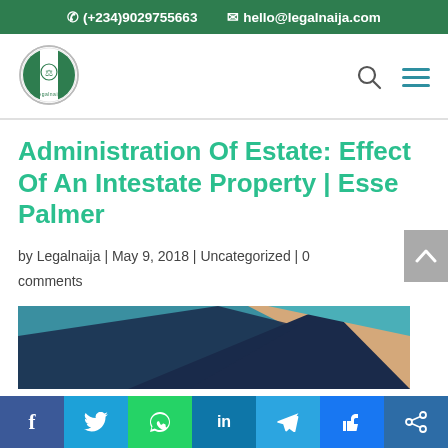(+234)9029755663  hello@legalnaija.com
[Figure (logo): Legalnaija circular logo with Nigerian flag colors and scales of justice]
Administration Of Estate: Effect Of An Intestate Property | Esse Palmer
by Legalnaija | May 9, 2018 | Uncategorized | 0 comments
[Figure (illustration): Abstract geometric shapes in teal, navy, and tan/beige colors forming a decorative banner]
Social share bar: Facebook, Twitter, WhatsApp, LinkedIn, Telegram, Like, Share